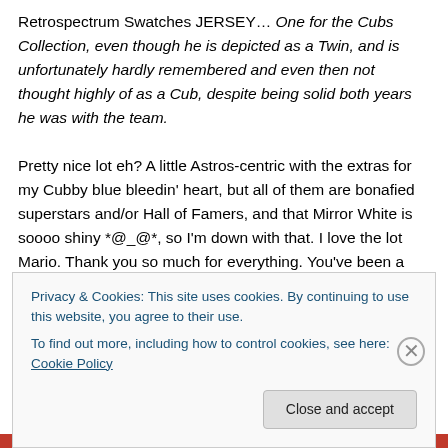Retrospectrum Swatches JERSEY… One for the Cubs Collection, even though he is depicted as a Twin, and is unfortunately hardly remembered and even then not thought highly of as a Cub, despite being solid both years he was with the team.
Pretty nice lot eh?  A little Astros-centric with the extras for my Cubby blue bleedin' heart, but all of them are bonafied superstars and/or Hall of Famers, and that Mirror White is soooo shiny *@_@*, so I'm down with that.  I love the lot Mario.  Thank you so much for everything.  You've been a good friend to me, and I will try to return the favor in the
Privacy & Cookies: This site uses cookies. By continuing to use this website, you agree to their use.
To find out more, including how to control cookies, see here: Cookie Policy
Close and accept